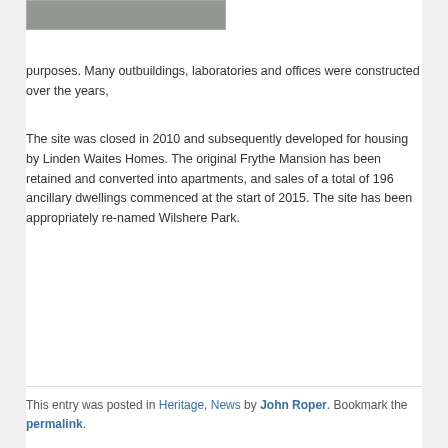[Figure (photo): Partial view of a road or pavement, cropped at top of page]
purposes. Many outbuildings, laboratories and offices were constructed over the years,
The site was closed in 2010 and subsequently developed for housing by Linden Waites Homes. The original Frythe Mansion has been retained and converted into apartments, and sales of a total of 196 ancillary dwellings commenced at the start of 2015. The site has been appropriately re-named Wilshere Park.
This entry was posted in Heritage, News by John Roper. Bookmark the permalink.